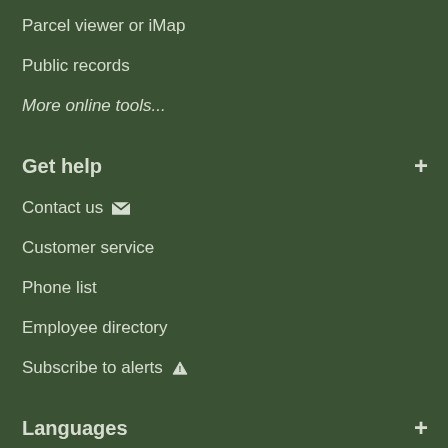Parcel viewer or iMap
Public records
More online tools...
Get help
Contact us
Customer service
Phone list
Employee directory
Subscribe to alerts
Languages
En Español